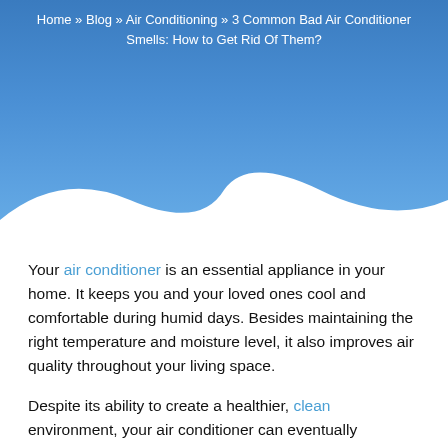[Figure (illustration): Blue gradient header background with a white wave shape at the bottom]
Home » Blog » Air Conditioning » 3 Common Bad Air Conditioner Smells: How to Get Rid Of Them?
Your air conditioner is an essential appliance in your home. It keeps you and your loved ones cool and comfortable during humid days. Besides maintaining the right temperature and moisture level, it also improves air quality throughout your living space.
Despite its ability to create a healthier, clean environment, your air conditioner can eventually deteriorate over time. For instance, a horrible stench can fill the room every time